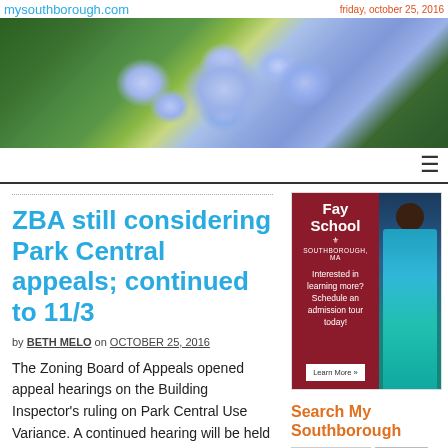mysouthborough.com
[Figure (photo): Banner photo of blue hydrangea flowers with green leaves]
ZBA still considering Park Central appeals; continued to 11/3
by BETH MELO on OCTOBER 25, 2016
The Zoning Board of Appeals opened appeal hearings on the Building Inspector's ruling on Park Central Use Variance. A continued hearing will be held on November 3rd. In advance,
[Figure (illustration): Fay School advertisement - Southborough MA school ad with child photo and Learn More button]
Search My Southborough
[Figure (photo): Ginny Martins real estate advertisement]